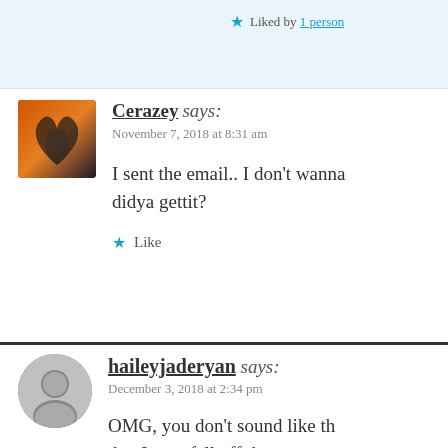Liked by 1 person
Cerazey says: November 7, 2018 at 8:31 am
I sent the email.. I don't wanna didya gettit?
Like
haileyjaderyan says: December 3, 2018 at 2:34 pm
OMG, you don't sound like th… that I may fall off the wagon … replying to all the November … terrible. Expecially with emai… and put it on my to-do-list to… a terrible month. Work crush…